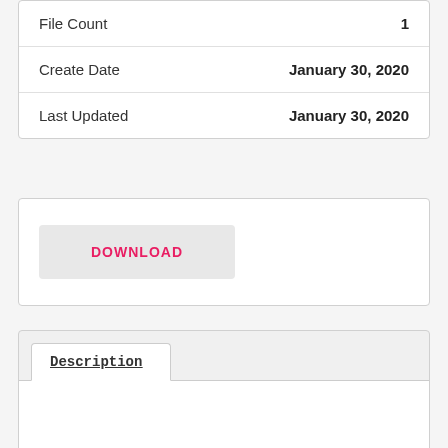| Field | Value |
| --- | --- |
| File Count | 1 |
| Create Date | January 30, 2020 |
| Last Updated | January 30, 2020 |
DOWNLOAD
Description